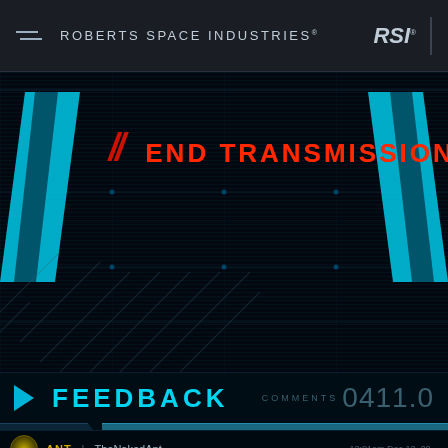ROBERTS SPACE INDUSTRIES®
[Figure (screenshot): Sci-fi UI video player screen showing 'END TRANSMISSION' in red text with cyan geometric panels and diagonal stripes on dark background with scan lines and grid overlay]
FEEDBACK
COMMENTS 0411.0
ADD NEW COMMENT
ANT | TheNakedAnt  12:01am Dec 12, 20...